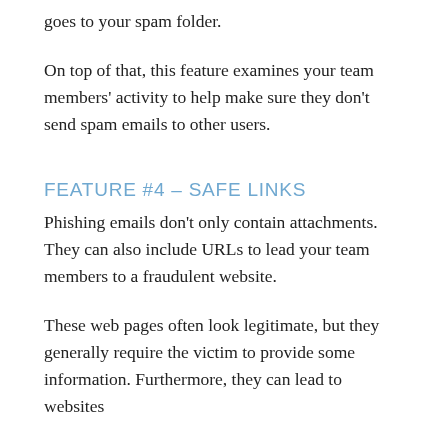goes to your spam folder.
On top of that, this feature examines your team members' activity to help make sure they don't send spam emails to other users.
FEATURE #4 – SAFE LINKS
Phishing emails don't only contain attachments. They can also include URLs to lead your team members to a fraudulent website.
These web pages often look legitimate, but they generally require the victim to provide some information. Furthermore, they can lead to websites